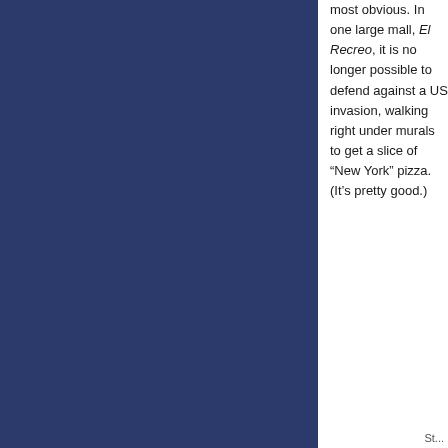most obvious. In one large mall, El Recreo, it is no longer possible to defend against a US invasion, walking right under murals to get a slice of "New York" pizza. (It's pretty good.)
St...